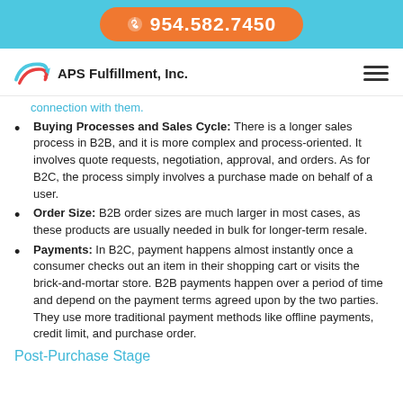954.582.7450
[Figure (logo): APS Fulfillment, Inc. logo with stylized arrow/swoosh graphic]
connection with them.
Buying Processes and Sales Cycle: There is a longer sales process in B2B, and it is more complex and process-oriented. It involves quote requests, negotiation, approval, and orders. As for B2C, the process simply involves a purchase made on behalf of a user.
Order Size: B2B order sizes are much larger in most cases, as these products are usually needed in bulk for longer-term resale.
Payments: In B2C, payment happens almost instantly once a consumer checks out an item in their shopping cart or visits the brick-and-mortar store. B2B payments happen over a period of time and depend on the payment terms agreed upon by the two parties. They use more traditional payment methods like offline payments, credit limit, and purchase order.
Post-Purchase Stage